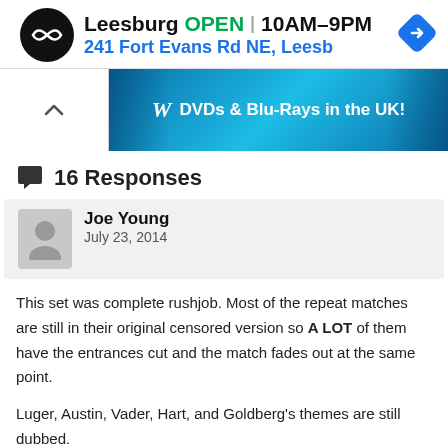[Figure (infographic): Leesburg store ad banner: logo icon, 'Leesburg OPEN 10AM-9PM', address '241 Fort Evans Rd NE, Leesb', navigation arrow icon, and small arrow/X icons on left side]
[Figure (infographic): WWE DVDs & Blu-Rays in the UK banner advertisement with blue background and wrestlers]
16 Responses
Joe Young
July 23, 2014
This set was complete rushjob. Most of the repeat matches are still in their original censored version so A LOT of them have the entrances cut and the match fades out at the same point.
Luger, Austin, Vader, Hart, and Goldberg’s themes are still dubbed.
Page, Jericho, and Jarrett’s theme are still intact though (unlike on The Network!)
While Michael Buffer is not used, The Outsiders theme and a few other...